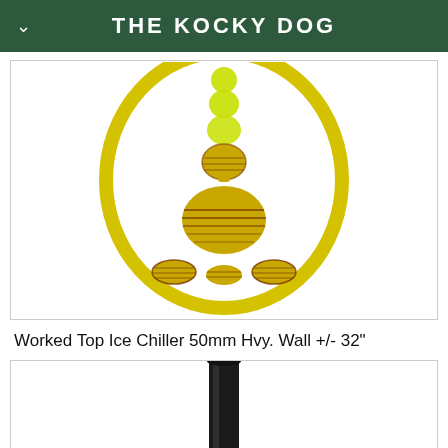THE KOCKY DOG
[Figure (photo): Yellow/amber glass water pipe with worked top detail, stacked bubble sections, and coiled base feet, displayed with a large yellow circular ring, on white background]
Worked Top Ice Chiller 50mm Hvy. Wall +/- 32"
[Figure (photo): Bottom portion of a dark/black glass pipe or bong on white background, partially cropped]